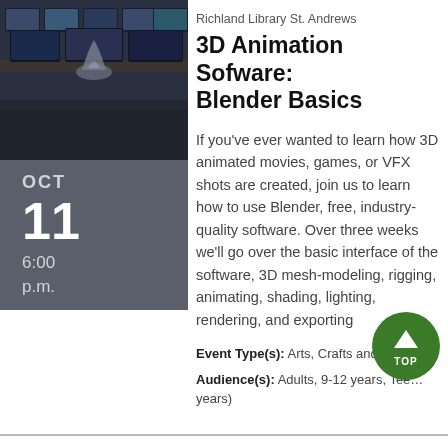[Figure (photo): Photo of a computer lab or animation workstation environment with multiple monitors and equipment]
OCT
11
6:00
p.m.
Richland Library St. Andrews
3D Animation Sofware: Blender Basics
If you've ever wanted to learn how 3D animated movies, games, or VFX shots are created, join us to learn how to use Blender, free, industry-quality software. Over three weeks we'll go over the basic interface of the software, 3D mesh-modeling, rigging, animating, shading, lighting, rendering, and exporting
Event Type(s): Arts, Crafts and Hobbies
Audience(s): Adults, 9-12 years, Teens (13-17 years)